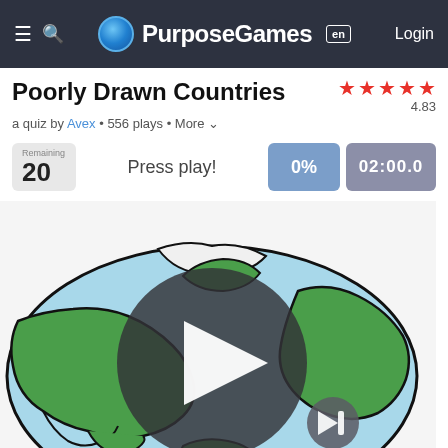PurposeGames [en] Login
Poorly Drawn Countries
a quiz by Avex • 556 plays • More
Remaining: 20 | Press play! | 0% | 02:00.0
[Figure (illustration): A poorly drawn cartoon globe/world map showing continents in green on blue oceans, viewed from above. A large dark semi-transparent play button (triangle) is overlaid in the center. A smaller forward/skip button appears to the lower right.]